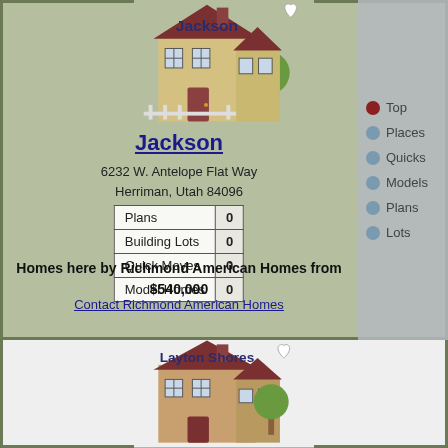[Figure (illustration): Cartoon house illustration with text 'Jackson' overlaid, heart/bookmark icon in upper right]
Jackson
6232 W. Antelope Flat Way
Herriman, Utah 84096
| Plans | 0 |
| Building Lots | 0 |
| Quick Moves | 0 |
| Model Homes | 0 |
Homes here by Richmond American Homes from $540,000
Contact Richmond American Homes
Top
Places
Quicks
Models
Plans
Lots
[Figure (illustration): Cartoon house illustration with text 'Layton Shores' overlaid, heart icon in upper right]